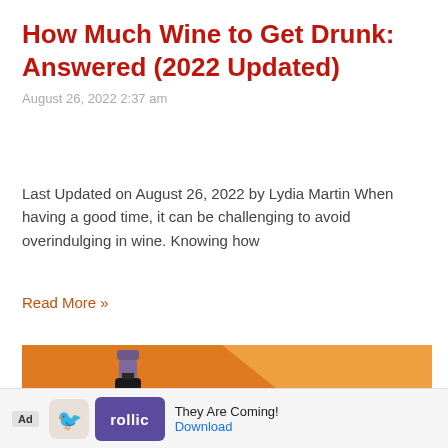How Much Wine to Get Drunk: Answered (2022 Updated)
August 26, 2022 2:37 am
Last Updated on August 26, 2022 by Lydia Martin When having a good time, it can be challenging to avoid overindulging in wine. Knowing how
Read More »
[Figure (photo): Advertisement banner showing a Prosecco wine bottle against an orange background with bold text reading KIRKLAND PROSECCO]
[Figure (infographic): Mobile ad bar at bottom: Ad label, Follic app icon, rollic purple logo, text 'They Are Coming!' and a Download button link in blue]